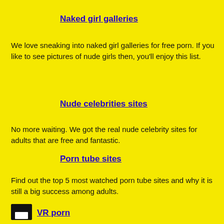Naked girl galleries
We love sneaking into naked girl galleries for free porn. If you like to see pictures of nude girls then, you'll enjoy this list.
Nude celebrities sites
No more waiting. We got the real nude celebrity sites for adults that are free and fantastic.
Porn tube sites
Find out the top 5 most watched porn tube sites and why it is still a big success among adults.
VR porn